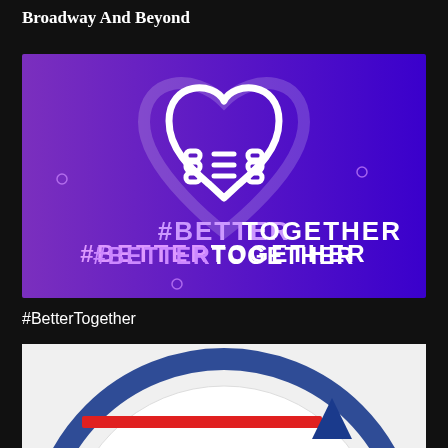Broadway And Beyond
[Figure (illustration): Purple to blue gradient background with a white outline heart-shaped handshake icon and the text '#BETTERTOGETHER' in white and light purple below it. Decorative small circles scattered around.]
#BetterTogether
[Figure (screenshot): Partial view of a circular graphic with blue ring border on white background, a red horizontal bar and a blue triangle shape visible at the bottom.]